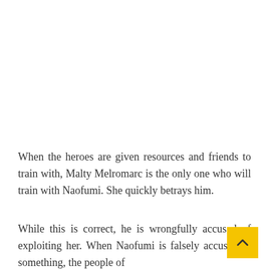When the heroes are given resources and friends to train with, Malty Melromarc is the only one who will train with Naofumi. She quickly betrays him.
While this is correct, he is wrongfully accused of exploiting her. When Naofumi is falsely accused of something, the people of